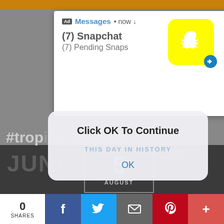[Figure (screenshot): Mobile notification ad from Snapchat showing '(7) Snapchat' and '(7) Pending Snaps' with Snapchat ghost icon on yellow background and a close X button]
#tropical paradise
[Figure (screenshot): Dark image area showing 'JUNE' text and a date box with '5' and 'AUGUST']
[Figure (screenshot): Alert dialog overlay saying 'Click OK To Continue' with 'THIS DAY IN HISTORY' text and 'OK' button]
0 SHARES
[Figure (screenshot): Social sharing bar with Facebook, Twitter, Email, Pinterest, and Plus buttons]